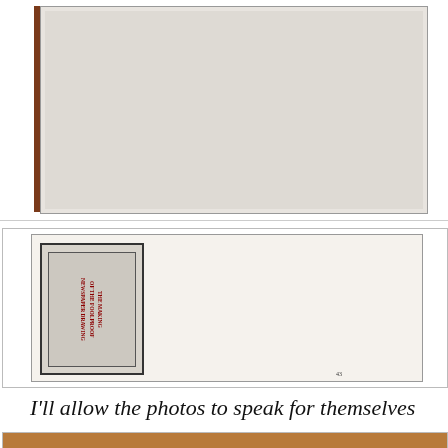[Figure (photo): Top photo showing a book cover with dark spine on wooden surface, blank cream/gray page visible]
[Figure (photo): Middle photo showing an interior page of a book rotated 90 degrees. The page shows a decorative illustrated title 'The Making of the Foolproof Newspaper Drawing' with ornate border, and article text in columns. Page number 43 visible.]
I'll allow the photos to speak for themselves …
[Figure (photo): Bottom partial photo showing what appears to be another book page with brownish/orange cover or page]